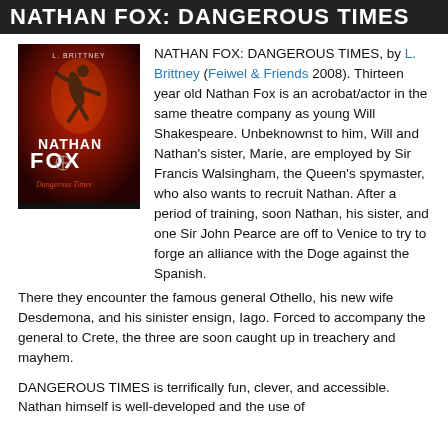NATHAN FOX: DANGEROUS TIMES
[Figure (illustration): Book cover of Nathan Fox: Dangerous Times, showing a figure in dramatic pose against a red background with the title text]
NATHAN FOX: DANGEROUS TIMES, by L. Brittney (Feiwel & Friends 2008). Thirteen year old Nathan Fox is an acrobat/actor in the same theatre company as young Will Shakespeare. Unbeknownst to him, Will and Nathan's sister, Marie, are employed by Sir Francis Walsingham, the Queen's spymaster, who also wants to recruit Nathan. After a period of training, soon Nathan, his sister, and one Sir John Pearce are off to Venice to try to forge an alliance with the Doge against the Spanish.
There they encounter the famous general Othello, his new wife Desdemona, and his sinister ensign, Iago. Forced to accompany the general to Crete, the three are soon caught up in treachery and mayhem.
DANGEROUS TIMES is terrifically fun, clever, and accessible. Nathan himself is well-developed and the use of